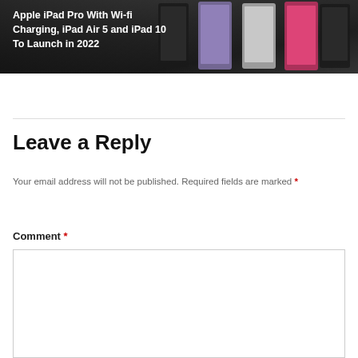[Figure (screenshot): Banner image showing multiple iPad models (iPad Pro, iPad Air, iPad 10) arranged in a group against a dark background, with white text overlay reading 'Apple iPad Pro With Wi-fi Charging, iPad Air 5 and iPad 10 To Launch in 2022']
Leave a Reply
Your email address will not be published. Required fields are marked *
Comment *